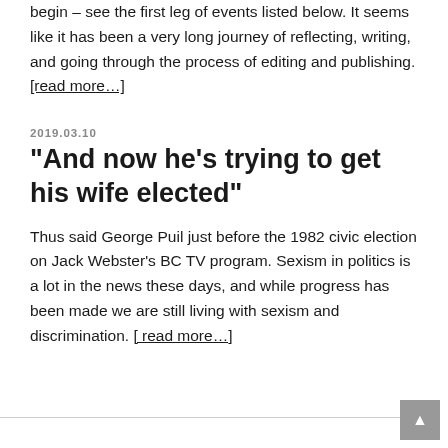begin – see the first leg of events listed below. It seems like it has been a very long journey of reflecting, writing, and going through the process of editing and publishing. [read more…]
2019.03.10
“And now he’s trying to get his wife elected”
Thus said George Puil just before the 1982 civic election on Jack Webster’s BC TV program. Sexism in politics is a lot in the news these days, and while progress has been made we are still living with sexism and discrimination. [read more…]